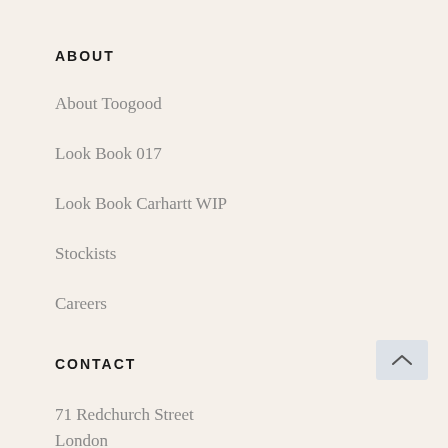ABOUT
About Toogood
Look Book 017
Look Book Carhartt WIP
Stockists
Careers
CONTACT
71 Redchurch Street
London
E2 7DJ

+44 (0)20 7226 1061